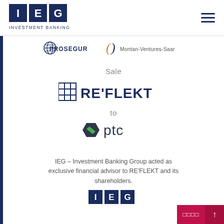[Figure (logo): IEG Investment Banking logo - dark blue square tiles with letters I, E, G and text INVESTMENT BANKING below]
[Figure (logo): Hamburger menu icon - three horizontal dark blue lines]
[Figure (logo): Prosegur logo with globe icon and bold text PROSEGUR]
[Figure (logo): Montan-Ventures-Saar logo with orange/blue bracket icon and text]
Sale
[Figure (logo): RE'FLEKT logo with grid icon and bold text RE'FLEKT]
to
[Figure (logo): PTC logo with green hexagon/chevron icon and text ptc in dark]
IEG – Investment Banking Group acted as exclusive financial advisor to RE'FLEKT and its shareholders.
[Figure (logo): IEG Investment Banking logo at bottom of page]